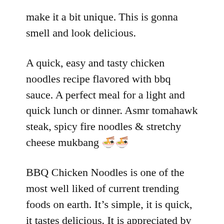make it a bit unique. This is gonna smell and look delicious.
A quick, easy and tasty chicken noodles recipe flavored with bbq sauce. A perfect meal for a light and quick lunch or dinner. Asmr tomahawk steak, spicy fire noodles & stretchy cheese mukbang 🍜🍜
BBQ Chicken Noodles is one of the most well liked of current trending foods on earth. It's simple, it is quick, it tastes delicious. It is appreciated by millions daily. BBQ Chicken Noodles is something which I've loved my whole life. They're nice and they look wonderful.